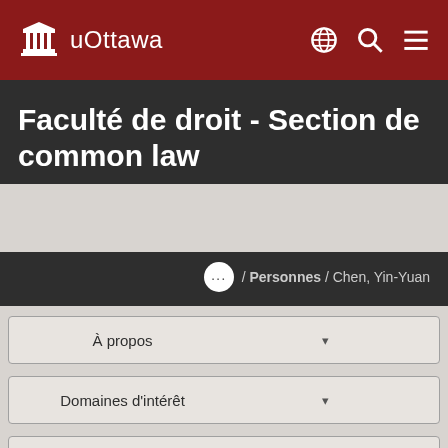[Figure (logo): uOttawa logo with building icon and text 'uOttawa' on dark red header bar with globe, search, and menu icons]
Faculté de droit - Section de common law
... / Personnes / Chen, Yin-Yuan
À propos
Domaines d'intérêt
Recrutement et admissions
Étudiants
Diplômées et diplômés - Donnez